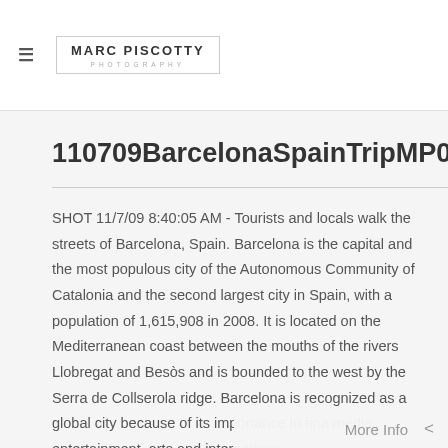MARC PISCOTTY PHOTOGRAPHY
110709BarcelonaSpainTripMP0619
SHOT 11/7/09 8:40:05 AM - Tourists and locals walk the streets of Barcelona, Spain. Barcelona is the capital and the most populous city of the Autonomous Community of Catalonia and the second largest city in Spain, with a population of 1,615,908 in 2008. It is located on the Mediterranean coast between the mouths of the rivers Llobregat and Besòs and is bounded to the west by the Serra de Collserola ridge. Barcelona is recognized as a global city because of its importance in finance, media, entertainment, arts and international…